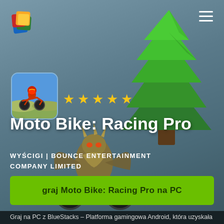[Figure (screenshot): BlueStacks app player logo - colorful layered squares icon in top-left corner]
[Figure (illustration): Green Christmas tree cartoon illustration in background top-right]
[Figure (illustration): Dark fantasy monster character on motorcycle in background center]
[Figure (screenshot): App icon showing motorbike racer with red helmet on dirt bike, blue/sky background]
★ ★ ★ ★ ★
Moto Bike: Racing Pro
WYŚCIGI | BOUNCE ENTERTAINMENT COMPANY LIMITED
graj Moto Bike: Racing Pro na PC
Graj na PC z BlueStacks – Platforma gamingowa Android, która uzyskała zaufanie ponad 500 milionów graczy!